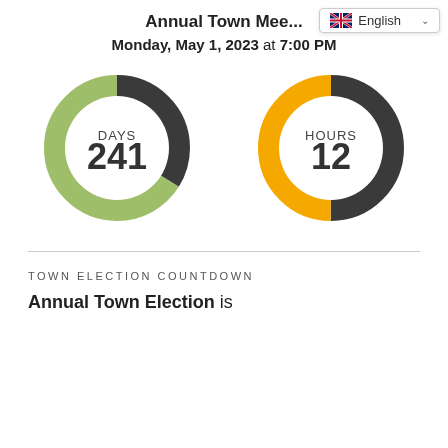Annual Town Meeting
Monday, May 1, 2023 at 7:00 PM
[Figure (donut-chart): Donut chart showing 241 days countdown. Large segment in green, small segment in dark gray/charcoal.]
[Figure (donut-chart): Donut chart showing 12 hours countdown. Segment split roughly equally between orange and dark gray/charcoal.]
TOWN ELECTION COUNTDOWN
Annual Town Election is